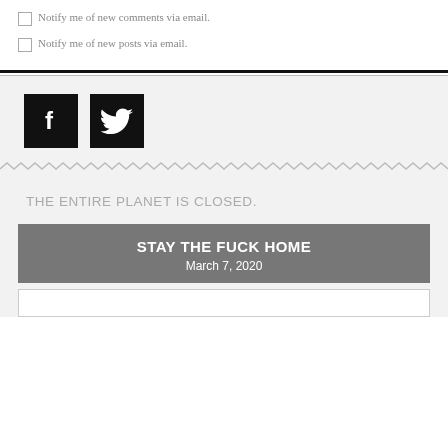Notify me of new comments via email.
Notify me of new posts via email.
[Figure (logo): Facebook and Twitter social media icon buttons, black square backgrounds with white f and bird logos]
THE ENTIRE PLANET IS CLOSED.
STAY THE FUCK HOME
March 7, 2020